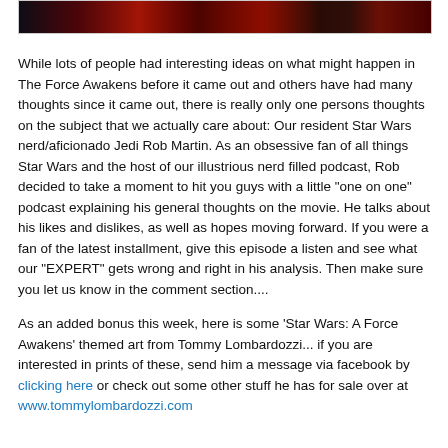[Figure (photo): A cropped banner image showing Star Wars themed art with dark red and black tones]
While lots of people had interesting ideas on what might happen in The Force Awakens before it came out and others have had many thoughts since it came out, there is really only one persons thoughts on the subject that we actually care about: Our resident Star Wars nerd/aficionado Jedi Rob Martin. As an obsessive fan of all things Star Wars and the host of our illustrious nerd filled podcast, Rob decided to take a moment to hit you guys with a little "one on one" podcast explaining his general thoughts on the movie. He talks about his likes and dislikes, as well as hopes moving forward. If you were a fan of the latest installment, give this episode a listen and see what our "EXPERT" gets wrong and right in his analysis. Then make sure you let us know in the comment section....
As an added bonus this week, here is some 'Star Wars: A Force Awakens' themed art from Tommy Lombardozzi... if you are interested in prints of these, send him a message via facebook by clicking here or check out some other stuff he has for sale over at www.tommylombardozzi.com